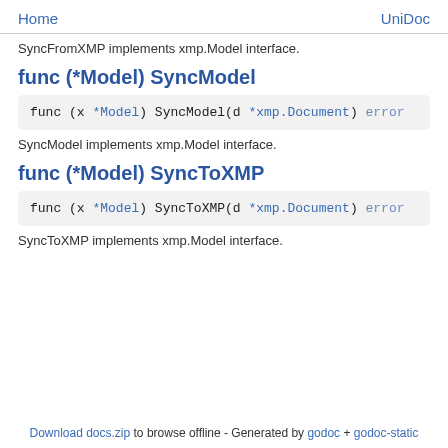Home   UniDoc
SyncFromXMP implements xmp.Model interface.
func (*Model) SyncModel
func (x *Model) SyncModel(d *xmp.Document) error
SyncModel implements xmp.Model interface.
func (*Model) SyncToXMP
func (x *Model) SyncToXMP(d *xmp.Document) error
SyncToXMP implements xmp.Model interface.
Download docs.zip to browse offline - Generated by godoc + godoc-static